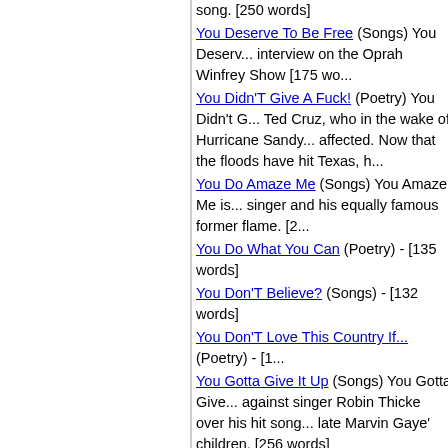You Claim To Be A Christian (Songs) You Claim... song. [250 words]
You Deserve To Be Free (Songs) You Deserve... interview on the Oprah Winfrey Show [175 wo...
You Didn'T Give A Fuck! (Poetry) You Didn't G... Ted Cruz, who in the wake of Hurricane Sandy... affected. Now that the floods have hit Texas, h...
You Do Amaze Me (Songs) You Amaze Me is... singer and his equally famous former flame. [2...
You Do What You Can (Poetry) - [135 words]
You Don'T Believe? (Songs) - [132 words]
You Don'T Love This Country If... (Poetry) - [1...
You Gotta Give It Up (Songs) You Gotta Give... against singer Robin Thicke over his hit song... late Marvin Gaye' children. [256 words]
You Gotta Serve Someone (Songs) You Gotta... first established by Bob Dylan. [196 words]
You Have A Right To Your Voice (Poetry) - [12...
You Have Been A Friend (Songs) - [195 words...
You Have Nothing To Fear (Songs) You Have... song of encouragement. [221 words]
You Havta Go Now (Songs) - [220 words]
You Know He's Full Of Stuff (Poetry) - [162 w...
You Know That I Love You (Songs) You Know... used on shows like the Maury Povitch show w... devastating news. [284 words]
You Know Why I Left You (Songs) - [144 word...